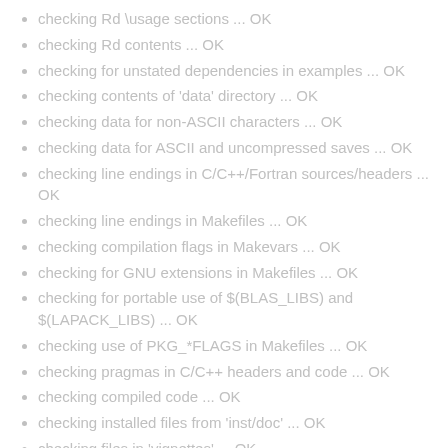checking Rd \usage sections ... OK
checking Rd contents ... OK
checking for unstated dependencies in examples ... OK
checking contents of 'data' directory ... OK
checking data for non-ASCII characters ... OK
checking data for ASCII and uncompressed saves ... OK
checking line endings in C/C++/Fortran sources/headers ... OK
checking line endings in Makefiles ... OK
checking compilation flags in Makevars ... OK
checking for GNU extensions in Makefiles ... OK
checking for portable use of $(BLAS_LIBS) and $(LAPACK_LIBS) ... OK
checking use of PKG_*FLAGS in Makefiles ... OK
checking pragmas in C/C++ headers and code ... OK
checking compiled code ... OK
checking installed files from 'inst/doc' ... OK
checking files in 'vignettes' ... OK
checking examples ... [30s] OK
checking for unstated dependencies in vignettes ... OK
checking package vignettes in 'inst/doc' ... OK
checking re-building of vignette outputs ... [57s] OK
checking PDF version of manual ... OK
checking HTML version of manual ... OK
DONE